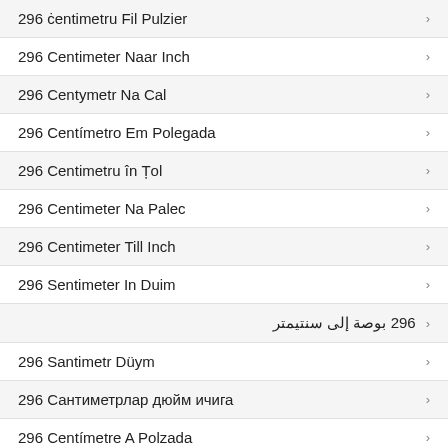296 ċentimetru Fil Pulzier
296 Centimeter Naar Inch
296 Centymetr Na Cal
296 Centímetro Em Polegada
296 Centimetru în Țol
296 Centimeter Na Palec
296 Centimeter Till Inch
296 Sentimeter In Duim
296 بوصة إلى سنتيمتر
296 Santimetr Düym
296 Сантиметрлар дюйм ичига
296 Centímetre A Polzada